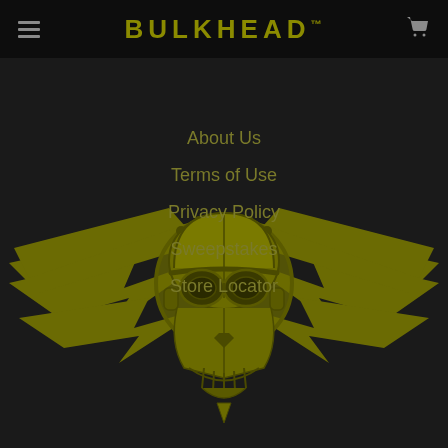BULKHEAD™
About Us
Terms of Use
Privacy Policy
Sweepstakes
Store Locator
[Figure (illustration): Bulkhead brand logo: a skull wearing a pilot helmet with goggles, flanked by large lightning bolt wings, rendered in olive/army green on dark background]